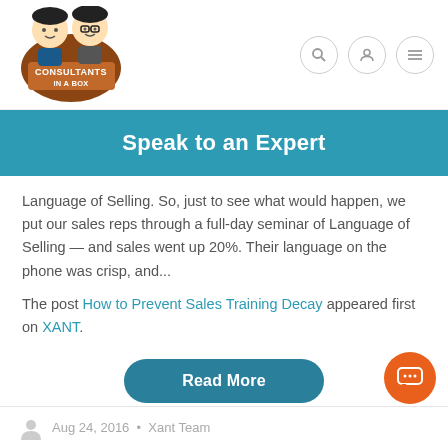[Figure (logo): Consultants In A Box logo with two cartoon characters]
[Figure (infographic): Three navigation icon circles: search, user, menu]
Speak to an Expert
Language of Selling. So, just to see what would happen, we put our sales reps through a full-day seminar of Language of Selling — and sales went up 20%. Their language on the phone was crisp, and...
The post How to Prevent Sales Training Decay appeared first on XANT.
Read More
Aug 24, 2016  •  Xant Team